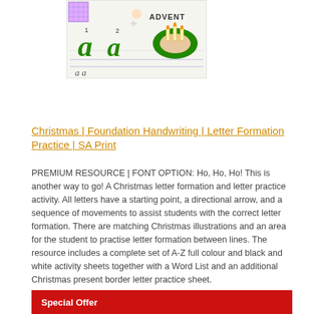[Figure (illustration): A handwriting practice worksheet showing Christmas/Advent themed images including an angel, Advent wreath with candles, decorative letter 'a' in green cursive with numbered stroke guides, and handwriting lines for practice.]
Christmas | Foundation Handwriting | Letter Formation Practice | SA Print
PREMIUM RESOURCE | FONT OPTION: Ho, Ho, Ho! This is another way to go! A Christmas letter formation and letter practice activity. All letters have a starting point, a directional arrow, and a sequence of movements to assist students with the correct letter formation. There are matching Christmas illustrations and an area for the student to practise letter formation between lines. The resource includes a complete set of A-Z full colour and black and white activity sheets together with a Word List and an additional Christmas present border letter practice sheet.
Special Offer